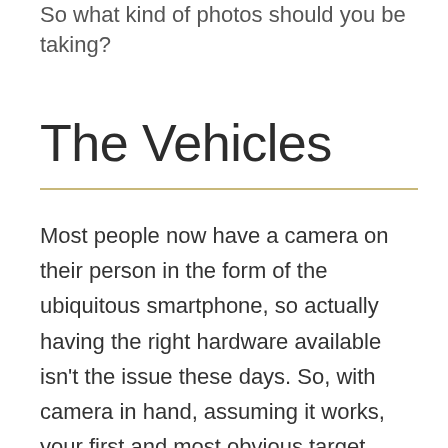So what kind of photos should you be taking?
The Vehicles
Most people now have a camera on their person in the form of the ubiquitous smartphone, so actually having the right hardware available isn't the issue these days. So, with camera in hand, assuming it works, your first and most obvious target should be the vehicles.